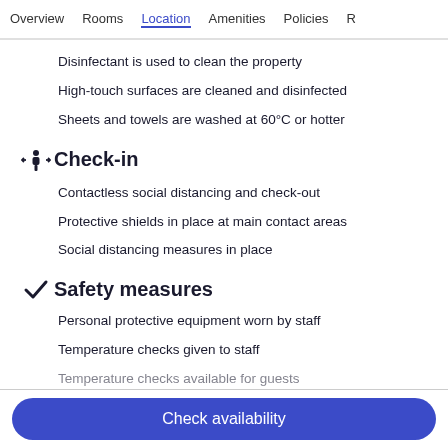Overview  Rooms  Location  Amenities  Policies  R
Disinfectant is used to clean the property
High-touch surfaces are cleaned and disinfected
Sheets and towels are washed at 60°C or hotter
Check-in
Contactless social distancing and check-out
Protective shields in place at main contact areas
Social distancing measures in place
Safety measures
Personal protective equipment worn by staff
Temperature checks given to staff
Temperature checks available for guests
Check availability